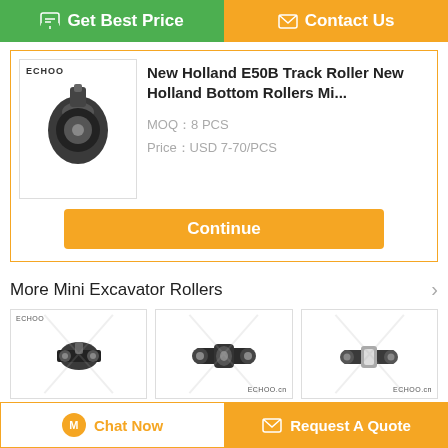[Figure (screenshot): E-commerce product page screenshot for New Holland E50B Track Roller with buttons, product image, and related product thumbnails]
New Holland E50B Track Roller New Holland Bottom Rollers Mi...
MOQ：8 PCS
Price：USD 7-70/PCS
More  Mini Excavator Rollers
Bobcat 334 Bottom Roller F...
UE30 Track Rollers / Bottom...
Yanmar Mini Excavator Track...
Change Language